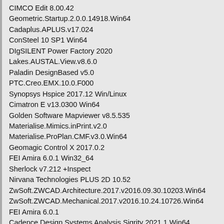CIMCO Edit 8.00.42
Geometric.Startup.2.0.0.14918.Win64
Cadaplus.APLUS.v17.024
ConSteel 10 SP1 Win64
DIgSILENT Power Factory 2020
Lakes.AUSTAL.View.v8.6.0
Paladin DesignBased v5.0
PTC.Creo.EMX.10.0.F000
Synopsys Hspice 2017.12 Win/Linux
Cimatron E v13.0300 Win64
Golden Software Mapviewer v8.5.535
Materialise.Mimics.inPrint.v2.0
Materialise.ProPlan.CMF.v3.0.Win64
Geomagic Control X 2017.0.2
FEI Amira 6.0.1 Win32_64
Sherlock v7.212 +Inspect
Nirvana Technologies PLUS 2D 10.52
ZwSoft.ZWCAD.Architecture.2017.v2016.09.30.10203.Win64
ZwSoft.ZWCAD.Mechanical.2017.v2016.10.24.10726.Win64
FEI Amira 6.0.1
Cadence Design Systems Analysis Sigrity 2021.1 Win64
Cadence ICADVM 20.0 Linux
formZ Pro 9.0.6.1 Build A286 Multilingual Win64
Midas.NFX.2020.R2.20201218.HotFix.Only.Win64
Ansys Motor-CAD 14.1.5 Win64